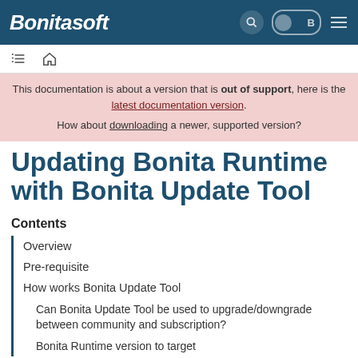Bonitasoft
This documentation is about a version that is out of support, here is the latest documentation version. How about downloading a newer, supported version?
Updating Bonita Runtime with Bonita Update Tool
Contents
Overview
Pre-requisite
How works Bonita Update Tool
Can Bonita Update Tool be used to upgrade/downgrade between community and subscription?
Bonita Runtime version to target